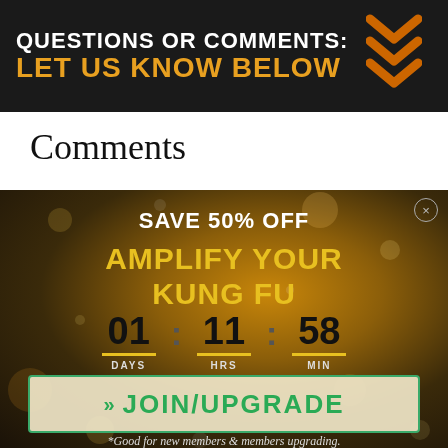[Figure (infographic): Dark banner with text 'QUESTIONS OR COMMENTS: LET US KNOW BELOW' and orange chevron arrows on right]
Comments
[Figure (infographic): Advertisement with bokeh background: SAVE 50% OFF AMPLIFY YOUR KUNG FU, countdown 01 DAYS : 11 HRS : 58 MIN, JOIN/UPGRADE button, footnote: *Good for new members & members upgrading.]